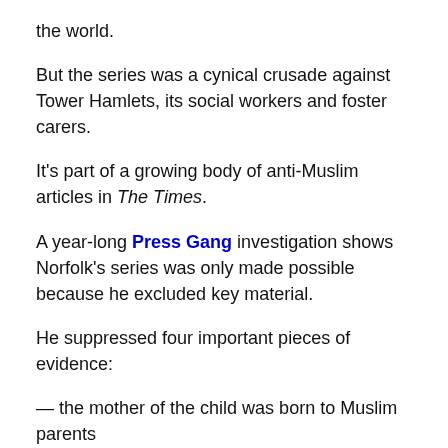the world.
But the series was a cynical crusade against Tower Hamlets, its social workers and foster carers.
It's part of a growing body of anti-Muslim articles in The Times.
A year-long Press Gang investigation shows Norfolk's series was only made possible because he excluded key material.
He suppressed four important pieces of evidence:
— the mother of the child was born to Muslim parents
— Tower Hamlets was always in favour of the child being cared for by her grandmother